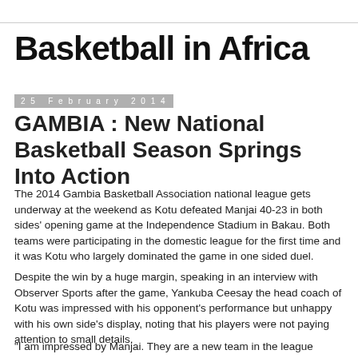Basketball in Africa
25 February 2014
GAMBIA : New National Basketball Season Springs Into Action
The 2014 Gambia Basketball Association national league gets underway at the weekend as Kotu defeated Manjai 40-23 in both sides' opening game at the Independence Stadium in Bakau. Both teams were participating in the domestic league for the first time and it was Kotu who largely dominated the game in one sided duel.
Despite the win by a huge margin, speaking in an interview with Observer Sports after the game, Yankuba Ceesay the head coach of Kotu was impressed with his opponent's performance but unhappy with his own side's display, noting that his players were not paying attention to small details.
"I am impressed by Manjai. They are a new team in the league